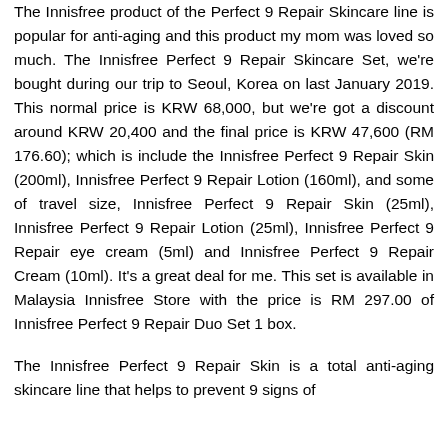The Innisfree product of the Perfect 9 Repair Skincare line is popular for anti-aging and this product my mom was loved so much. The Innisfree Perfect 9 Repair Skincare Set, we're bought during our trip to Seoul, Korea on last January 2019. This normal price is KRW 68,000, but we're got a discount around KRW 20,400 and the final price is KRW 47,600 (RM 176.60); which is include the Innisfree Perfect 9 Repair Skin (200ml), Innisfree Perfect 9 Repair Lotion (160ml), and some of travel size, Innisfree Perfect 9 Repair Skin (25ml), Innisfree Perfect 9 Repair Lotion (25ml), Innisfree Perfect 9 Repair eye cream (5ml) and Innisfree Perfect 9 Repair Cream (10ml). It's a great deal for me. This set is available in Malaysia Innisfree Store with the price is RM 297.00 of Innisfree Perfect 9 Repair Duo Set 1 box.
The Innisfree Perfect 9 Repair Skin is a total anti-aging skincare line that helps to prevent 9 signs of